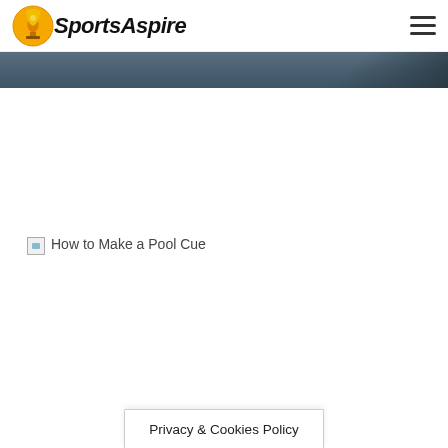SportsAspire
[Figure (photo): Broken image placeholder with alt text 'How to Make a Pool Cue']
Privacy & Cookies Policy